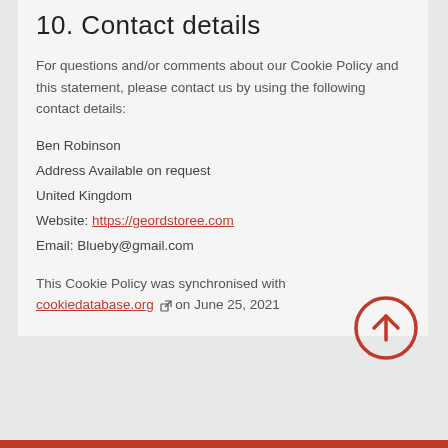10. Contact details
For questions and/or comments about our Cookie Policy and this statement, please contact us by using the following contact details:
Ben Robinson
Address Available on request
United Kingdom
Website: https://geordstoree.com
Email: Blueby@gmail.com
This Cookie Policy was synchronised with cookiedatabase.org on June 25, 2021